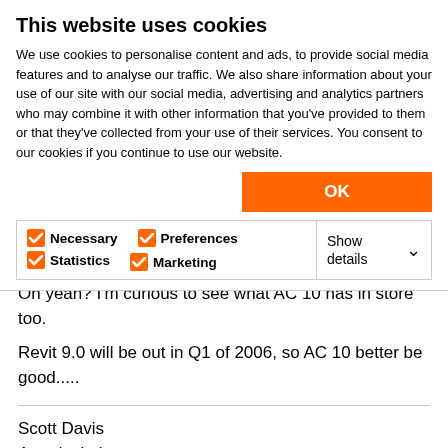This website uses cookies
We use cookies to personalise content and ads, to provide social media features and to analyse our traffic. We also share information about your use of our site with our social media, advertising and analytics partners who may combine it with other information that you've provided to them or that they've collected from your use of their services. You consent to our cookies if you continue to use our website.
OK
Necessary  Preferences  Statistics  Marketing  Show details
Oh yeah? I'm curious to see what AC 10 has in store too.
Revit 9.0 will be out in Q1 of 2006, so AC 10 better be good.....
Scott Davis
Autodesk, Inc.
On March 5, 2007 I joined Autodesk, Inc. as a Technical